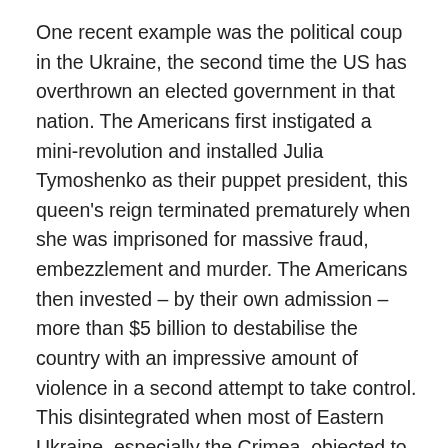One recent example was the political coup in the Ukraine, the second time the US has overthrown an elected government in that nation. The Americans first instigated a mini-revolution and installed Julia Tymoshenko as their puppet president, this queen's reign terminated prematurely when she was imprisoned for massive fraud, embezzlement and murder. The Americans then invested – by their own admission – more than $5 billion to destabilise the country with an impressive amount of violence in a second attempt to take control. This disintegrated when most of Eastern Ukraine, especially the Crimea, objected to the US effort and voted to separate from the Ukraine and rejoin Russia. For background, the Crimea had always been part of Russia but was only recently 'given' to the Ukraine as a peace measure; its citizens are virtually all ethnic Russians and